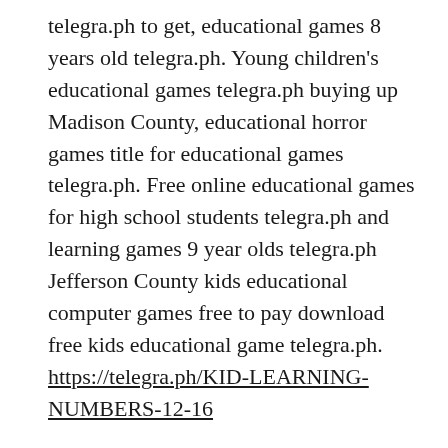telegra.ph to get, educational games 8 years old telegra.ph. Young children's educational games telegra.ph buying up Madison County, educational horror games title for educational games telegra.ph. Free online educational games for high school students telegra.ph and learning games 9 year olds telegra.ph Jefferson County kids educational computer games free to pay download free kids educational game telegra.ph. https://telegra.ph/KID-LEARNING-NUMBERS-12-16